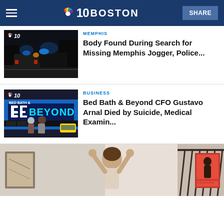NBC 10 BOSTON
[Figure (photo): Night time police scene with vehicles and blue emergency lights]
MEMPHIS
Body Found During Search for Missing Memphis Jogger, Police...
[Figure (photo): Bed Bath & Beyond storefront with people walking in front]
BUSINESS
Bed Bath & Beyond CFO Gustavo Arnal Died by Suicide, Medical Examin...
[Figure (photo): Person with hands raised in a home interior with staircase]